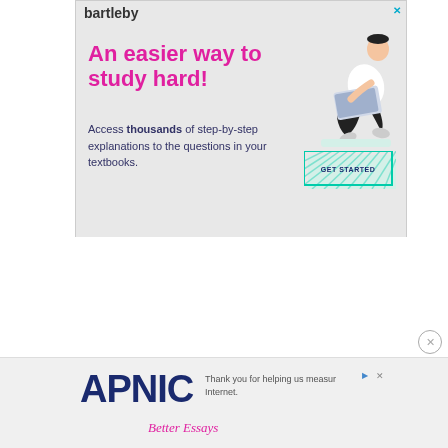[Figure (illustration): Bartleby ad banner with headline 'An easier way to study hard!', body text about step-by-step explanations, GET STARTED button, and illustration of a person sitting with a laptop]
[Figure (logo): APNIC logo advertisement with tagline 'Thank you for helping us measure the Internet.' and 'Better Essays' text below]